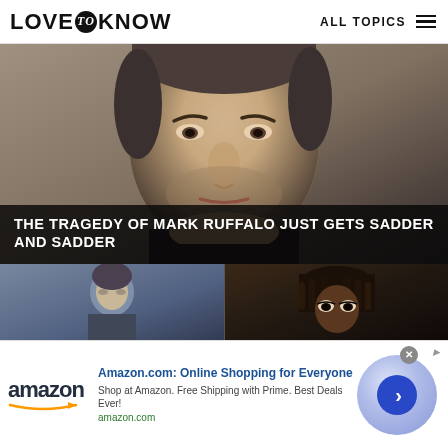LOVE to KNOW — ALL TOPICS
[Figure (photo): Close-up portrait of Mark Ruffalo, a man with short grey-dark hair and stubble, wearing a black top, looking forward with a serious expression]
THE TRAGEDY OF MARK RUFFALO JUST GETS SADDER AND SADDER
[Figure (photo): Two smaller photos below: left shows a man looking down outdoors with blurry background; right shows a person with dreadlocks with intense expression and dark lighting]
[Figure (photo): Advertisement banner: Amazon.com: Online Shopping for Everyone. Shop at Amazon. Free Shipping with Prime. Best Deals Ever! amazon.com]